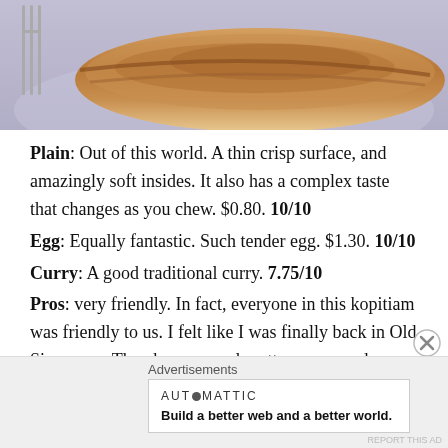[Figure (photo): Close-up photo of a roti prata on a light purple/blue plate, with a fork visible on the left side. The prata is golden-brown and crispy-looking.]
Plain: Out of this world. A thin crisp surface, and amazingly soft insides. It also has a complex taste that changes as you chew. $0.80. 10/10
Egg: Equally fantastic. Such tender egg. $1.30. 10/10
Curry: A good traditional curry. 7.75/10
Pros: very friendly. In fact, everyone in this kopitiam was friendly to us. I felt like I was finally back in Old Singapore. They have a good mutton curry and special anchovy chili.
Cons: hard to find parking. Long wait. Short hours.
Rating: 9.25/10
Advertisements
[Figure (logo): Automattic logo and tagline: Build a better web and a better world.]